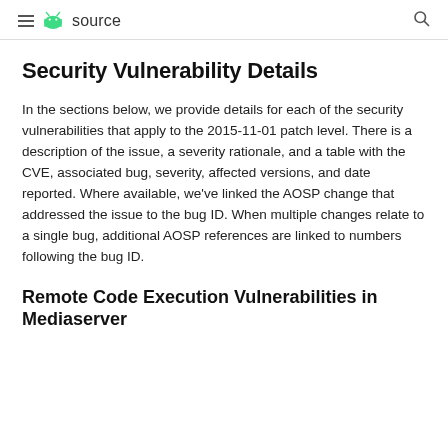≡ 🤖 source 🔍
Security Vulnerability Details
In the sections below, we provide details for each of the security vulnerabilities that apply to the 2015-11-01 patch level. There is a description of the issue, a severity rationale, and a table with the CVE, associated bug, severity, affected versions, and date reported. Where available, we've linked the AOSP change that addressed the issue to the bug ID. When multiple changes relate to a single bug, additional AOSP references are linked to numbers following the bug ID.
Remote Code Execution Vulnerabilities in Mediaserver